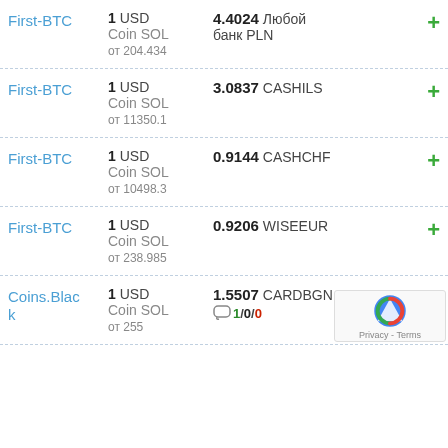First-BTC | 1 USD Coin SOL | 4.4024 Любой банк PLN | от 204.434
First-BTC | 1 USD Coin SOL | 3.0837 CASHILS | от 11350.1
First-BTC | 1 USD Coin SOL | 0.9144 CASHCHF | от 10498.3
First-BTC | 1 USD Coin SOL | 0.9206 WISEEUR | от 238.985
Coins.Black | 1 USD Coin SOL | 1.5507 CARDBGN | от 255 | 1/0/0